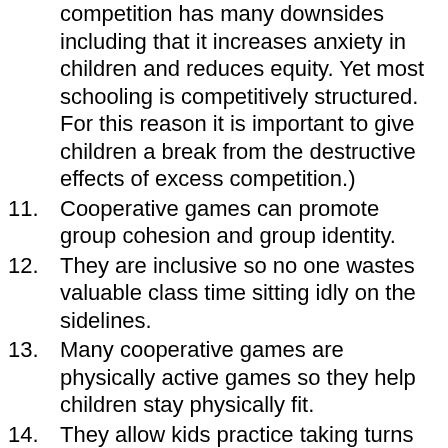(competition has many downsides including that it increases anxiety in children and reduces equity. Yet most schooling is competitively structured. For this reason it is important to give children a break from the destructive effects of excess competition.)
11. Cooperative games can promote group cohesion and group identity.
12. They are inclusive so no one wastes valuable class time sitting idly on the sidelines.
13. Many cooperative games are physically active games so they help children stay physically fit.
14. They allow kids practice taking turns and being courteous, which is a valuable life skill.
15. They prepare kids for working life where team-playing is the norm.
16. They prevent emotional meltdowns/embarrassment/meanness that